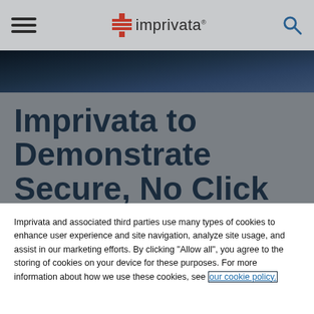Imprivata [logo] [hamburger menu] [search icon]
[Figure (screenshot): Dark blue/navy photographic banner strip behind the page header area]
Imprivata to Demonstrate Secure, No Click Access to Patient...
Imprivata and associated third parties use many types of cookies to enhance user experience and site navigation, analyze site usage, and assist in our marketing efforts. By clicking "Allow all", you agree to the storing of cookies on your device for these purposes. For more information about how we use these cookies, see our cookie policy.